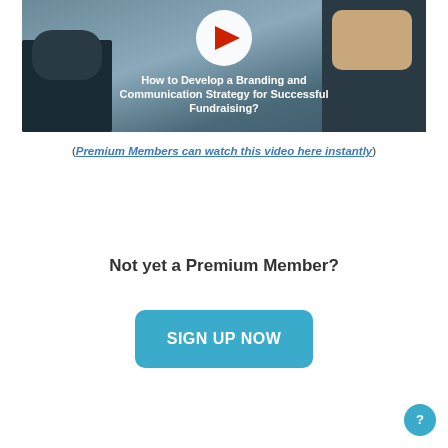[Figure (screenshot): Video thumbnail showing a person pointing with a play button overlay and text: How to Develop a Branding and Communication Strategy for Successful Fundraising?]
(Premium Members can watch this video here instantly)
Not yet a Premium Member?
SIGN UP NOW